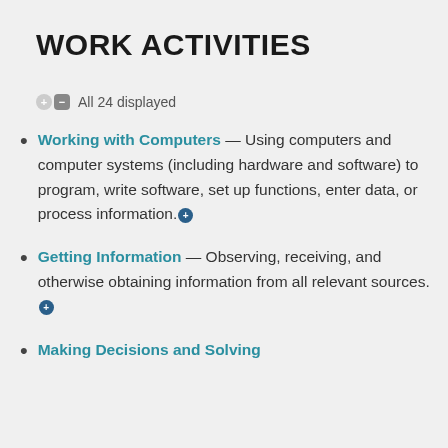WORK ACTIVITIES
All 24 displayed
Working with Computers — Using computers and computer systems (including hardware and software) to program, write software, set up functions, enter data, or process information.
Getting Information — Observing, receiving, and otherwise obtaining information from all relevant sources.
Making Decisions and Solving